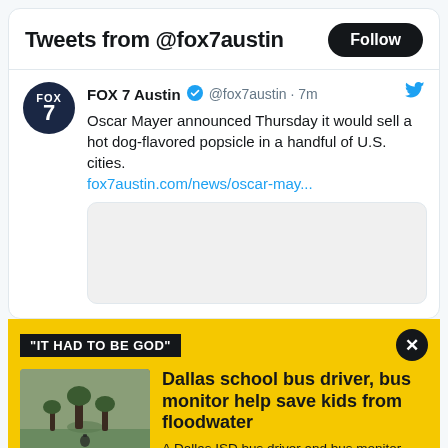Tweets from @fox7austin
FOX 7 Austin @fox7austin · 7m
Oscar Mayer announced Thursday it would sell a hot dog-flavored popsicle in a handful of U.S. cities.
fox7austin.com/news/oscar-may...
[Figure (screenshot): Embedded tweet image placeholder (blank/white box)]
"IT HAD TO BE GOD"
[Figure (photo): Photo thumbnail showing outdoor scene with trees and figure in water]
Dallas school bus driver, bus monitor help save kids from floodwater
A Dallas ISD bus driver and bus monitor helped save two children who were caught up and nearly swept away by flooding.